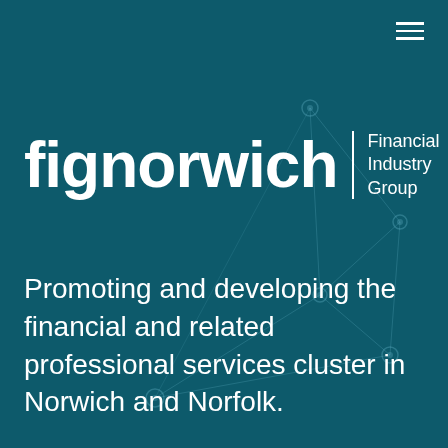[Figure (logo): fignorwich Financial Industry Group logo — white bold text 'fignorwich' with a vertical divider and 'Financial Industry Group' text on a dark teal background, with a network graph diagram in the background]
Promoting and developing the financial and related professional services cluster in Norwich and Norfolk.